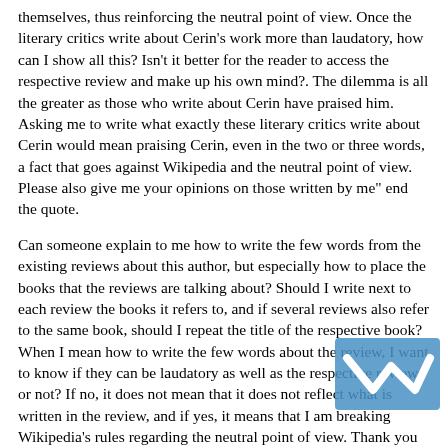themselves, thus reinforcing the neutral point of view. Once the literary critics write about Cerin's work more than laudatory, how can I show all this? Isn't it better for the reader to access the respective review and make up his own mind?. The dilemma is all the greater as those who write about Cerin have praised him. Asking me to write what exactly these literary critics write about Cerin would mean praising Cerin, even in the two or three words, a fact that goes against Wikipedia and the neutral point of view. Please also give me your opinions on those written by me" end the quote.
Can someone explain to me how to write the few words from the existing reviews about this author, but especially how to place the books that the reviews are talking about? Should I write next to each review the books it refers to, and if several reviews also refer to the same book, should I repeat the title of the respective book? When I mean how to write the few words about the review, I want to know if they can be laudatory as well as the respective review or not? If no, it does not mean that it does not reflect what is written in the review, and if yes, it means that I am breaking Wikipedia's rules regarding the neutral point of view. Thank you for your help.Bineart (talk) 05:10, 28 August 2022 (UTC)Reply[reply]
Bineart, your first paragraph above is dismaying, especially if it's about Draft:Sorin Cerin, which has very